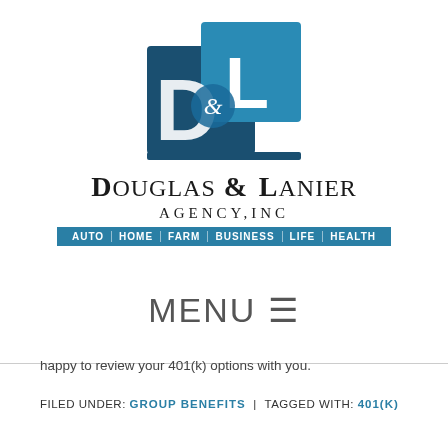[Figure (logo): Douglas & Lanier Agency, Inc. logo — stylized D and L letters in blue squares with ampersand, above company name and services bar reading AUTO | HOME | FARM | BUSINESS | LIFE | HEALTH]
MENU ≡
happy to review your 401(k) options with you.
FILED UNDER: GROUP BENEFITS | TAGGED WITH: 401(K)